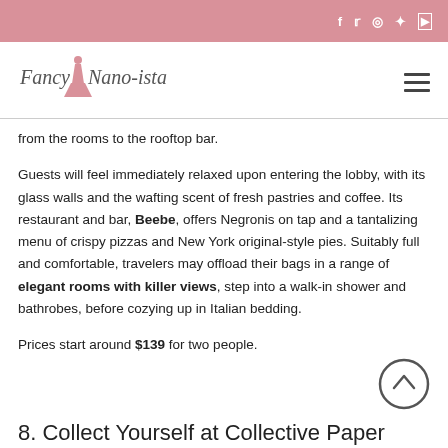Fancy Nano-ista — social icons (f, twitter, instagram, pinterest, youtube)
[Figure (logo): Fancy Nano-ista cursive logo with a pink dress figure]
from the rooms to the rooftop bar.
Guests will feel immediately relaxed upon entering the lobby, with its glass walls and the wafting scent of fresh pastries and coffee. Its restaurant and bar, Beebe, offers Negronis on tap and a tantalizing menu of crispy pizzas and New York original-style pies. Suitably full and comfortable, travelers may offload their bags in a range of elegant rooms with killer views, step into a walk-in shower and bathrobes, before cozying up in Italian bedding.
Prices start around $139 for two people.
8. Collect Yourself at Collective Paper